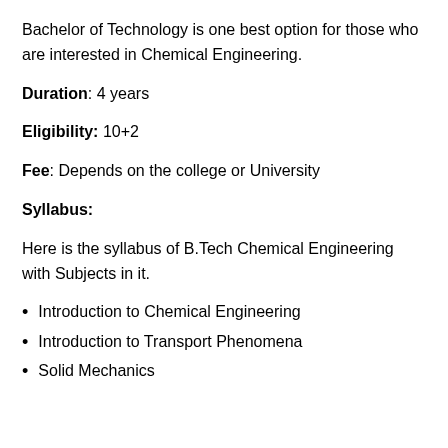Bachelor of Technology is one best option for those who are interested in Chemical Engineering.
Duration: 4 years
Eligibility: 10+2
Fee: Depends on the college or University
Syllabus:
Here is the syllabus of B.Tech Chemical Engineering with Subjects in it.
Introduction to Chemical Engineering
Introduction to Transport Phenomena
Solid Mechanics